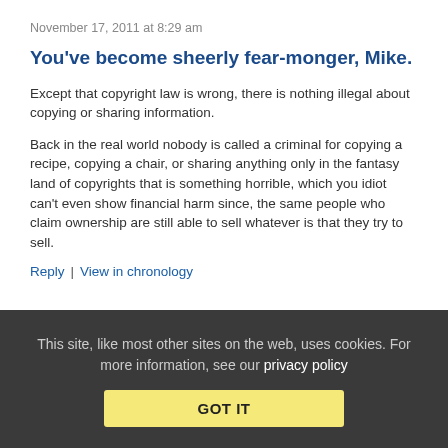November 17, 2011 at 8:29 am
You've become sheerly fear-monger, Mike.
Except that copyright law is wrong, there is nothing illegal about copying or sharing information.
Back in the real world nobody is called a criminal for copying a recipe, copying a chair, or sharing anything only in the fantasy land of copyrights that is something horrible, which you idiot can't even show financial harm since, the same people who claim ownership are still able to sell whatever is that they try to sell.
Reply | View in chronology
This site, like most other sites on the web, uses cookies. For more information, see our privacy policy GOT IT